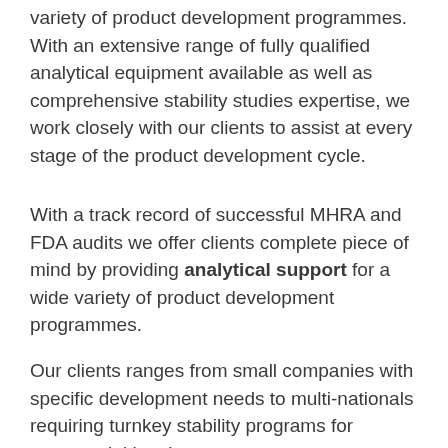variety of product development programmes. With an extensive range of fully qualified analytical equipment available as well as comprehensive stability studies expertise, we work closely with our clients to assist at every stage of the product development cycle.
With a track record of successful MHRA and FDA audits we offer clients complete piece of mind by providing analytical support for a wide variety of product development programmes.
Our clients ranges from small companies with specific development needs to multi-nationals requiring turnkey stability programs for commercial batches.